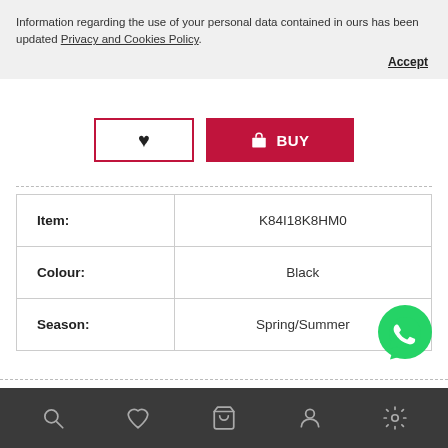Information regarding the use of your personal data contained in ours has been updated Privacy and Cookies Policy.
Accept
[Figure (other): Wishlist (heart) button and red BUY button with shopping bag icon]
| Item: | K84I18K8HM0 |
| Colour: | Black |
| Season: | Spring/Summer |
[Figure (other): WhatsApp green circular icon button]
Bottom navigation bar with search, heart, cart, user, and settings icons